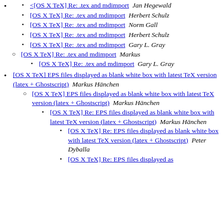[OS X TeX] Re: .tex and mdimport  Jan Hegewald
[OS X TeX] Re: .tex and mdimport  Herbert Schulz
[OS X TeX] Re: .tex and mdimport  Norm Gall
[OS X TeX] Re: .tex and mdimport  Herbert Schulz
[OS X TeX] Re: .tex and mdimport  Gary L. Gray
[OS X TeX] Re: .tex and mdimport  Markus
[OS X TeX] Re: .tex and mdimport  Gary L. Gray
[OS X TeX] EPS files displayed as blank white box with latest TeX version (latex + Ghostscript)  Markus Hänchen
[OS X TeX] EPS files displayed as blank white box with latest TeX version (latex + Ghostscript)  Markus Hänchen
[OS X TeX] Re: EPS files displayed as blank white box with latest TeX version (latex + Ghostscript)  Markus Hänchen
[OS X TeX] Re: EPS files displayed as blank white box with latest TeX version (latex + Ghostscript)  Peter Dyballa
[OS X TeX] Re: EPS files displayed as